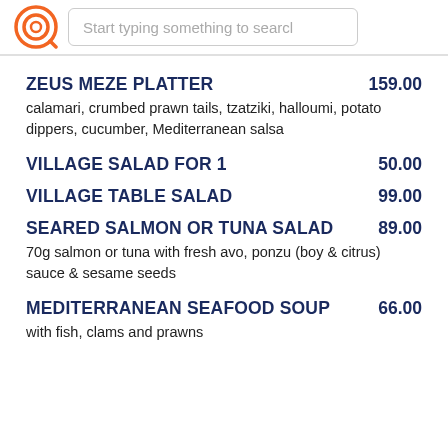[Figure (logo): Orange circular search/logo icon]
Start typing something to search
ZEUS MEZE PLATTER  159.00
calamari, crumbed prawn tails, tzatziki, halloumi, potato dippers, cucumber, Mediterranean salsa
VILLAGE SALAD FOR 1  50.00
VILLAGE TABLE SALAD  99.00
SEARED SALMON OR TUNA SALAD  89.00
70g salmon or tuna with fresh avo, ponzu (boy & citrus) sauce & sesame seeds
MEDITERRANEAN SEAFOOD SOUP  66.00
with fish, clams and prawns